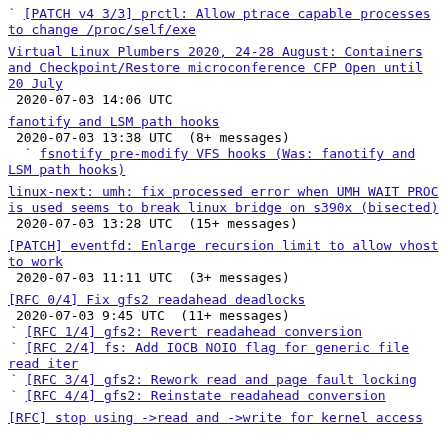[PATCH v4 3/3] prctl: Allow ptrace capable processes to change /proc/self/exe
Virtual Linux Plumbers 2020, 24-28 August: Containers and Checkpoint/Restore microconference CFP Open until 20 July
2020-07-03 14:06 UTC
fanotify and LSM path hooks
2020-07-03 13:38 UTC  (8+ messages)
fsnotify pre-modify VFS hooks (Was: fanotify and LSM path hooks)
linux-next: umh: fix processed error when UMH WAIT PROC is used seems to break linux bridge on s390x (bisected)
2020-07-03 13:28 UTC  (15+ messages)
[PATCH] eventfd: Enlarge recursion limit to allow vhost to work
2020-07-03 11:11 UTC  (3+ messages)
[RFC 0/4] Fix gfs2 readahead deadlocks
2020-07-03 9:45 UTC  (11+ messages)
[RFC 1/4] gfs2: Revert readahead conversion
[RFC 2/4] fs: Add IOCB NOIO flag for generic file read iter
[RFC 3/4] gfs2: Rework read and page fault locking
[RFC 4/4] gfs2: Reinstate readahead conversion
[RFC] stop using ->read and ->write for kernel access